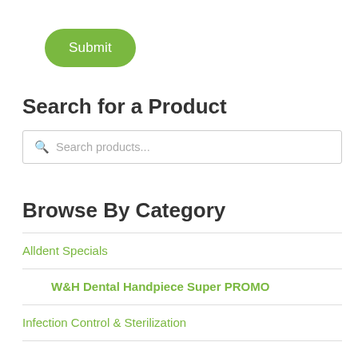[Figure (other): Green pill-shaped Submit button]
Search for a Product
[Figure (other): Search input box with magnifying glass icon and placeholder text 'Search products...']
Browse By Category
Alldent Specials
W&H Dental Handpiece Super PROMO
Infection Control & Sterilization